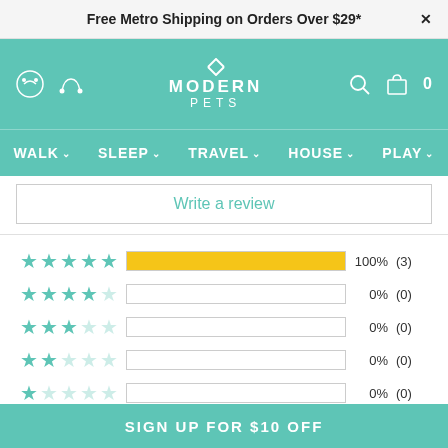Free Metro Shipping on Orders Over $29*
[Figure (logo): Modern Pets logo with stylized crown/bone icon, teal background]
WALK  SLEEP  TRAVEL  HOUSE  PLAY
Write a review
[Figure (bar-chart): Star rating distribution]
Most Recent
SIGN UP FOR $10 OFF